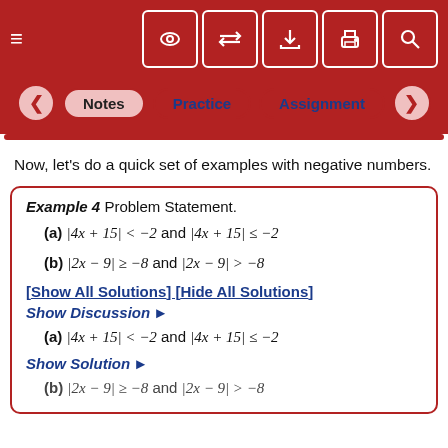[Figure (screenshot): Top navigation toolbar with hamburger menu icon and toolbar buttons (eye, arrows, download, print, search) on dark red background]
[Figure (screenshot): Navigation tabs row: back arrow, Notes (selected), Practice, Assignment, forward arrow on dark red background]
Now, let's do a quick set of examples with negative numbers.
Example 4 Problem Statement.
(a) |4x + 15| < −2 and |4x + 15| ≤ −2
(b) |2x − 9| ≥ −8 and |2x − 9| > −8
[Show All Solutions] [Hide All Solutions]
Show Discussion ▶
(a) |4x + 15| < −2 and |4x + 15| ≤ −2
Show Solution ▶
(b) |2x − 9| ≥ −8 and |2x − 9| > −8